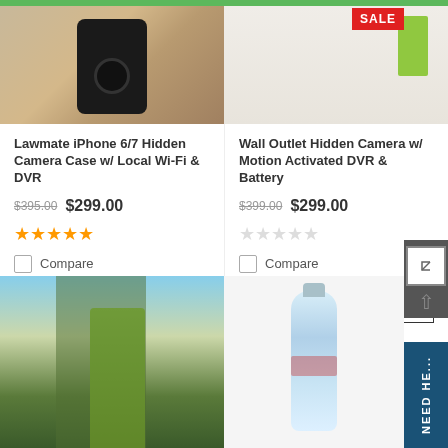[Figure (photo): Left product photo - hand holding Lawmate iPhone camera case (black device)]
[Figure (photo): Right product photo - Wall outlet hidden camera on beige wall with green object]
Lawmate iPhone 6/7 Hidden Camera Case w/ Local Wi-Fi & DVR
Wall Outlet Hidden Camera w/ Motion Activated DVR & Battery
$395.00  $299.00
$399.00  $299.00
[Figure (other): 5 orange filled star rating icons]
[Figure (other): 5 empty/grey star rating icons]
Compare
Compare
CHOOSE OPTIONS
CHOOSE OPTIONS
[Figure (photo): Bottom-left product photo - person in green shirt holding green bottle outside]
[Figure (photo): Bottom-right product photo - clear water bottle, SALE badge visible]